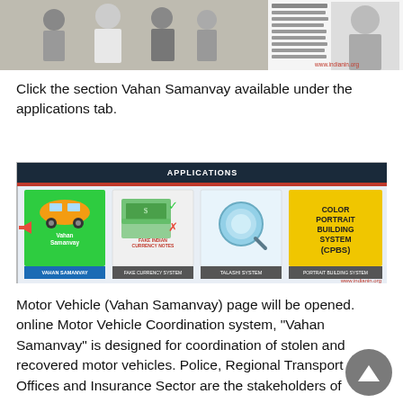[Figure (screenshot): Top strip showing a group of officials walking and a bio/text column with a portrait photo on the right. URL www.indianin.org visible at bottom right.]
Click the section Vahan Samanvay available under the applications tab.
[Figure (screenshot): Screenshot of an APPLICATIONS tab showing four tiles: Vahan Samanvay (green, car icon, red arrow pointing to it), Fake Currency System (Fake Indian Currency Notes), Talashi System (magnifier icon), and Portrait Building System (CPBS, yellow). URL www.indianin.org visible at bottom right.]
Motor Vehicle (Vahan Samanvay) page will be opened. online Motor Vehicle Coordination system, “Vahan Samanvay” is designed for coordination of stolen and recovered motor vehicles. Police, Regional Transport Offices and Insurance Sector are the stakeholders of